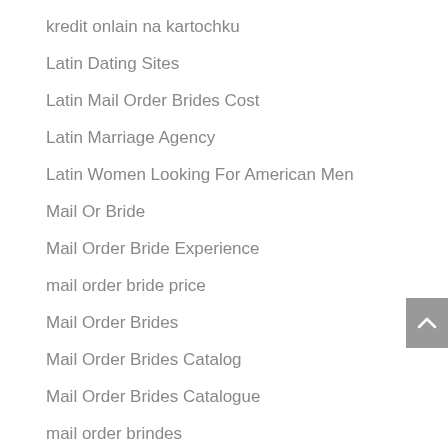kredit onlain na kartochku
Latin Dating Sites
Latin Mail Order Brides Cost
Latin Marriage Agency
Latin Women Looking For American Men
Mail Or Bride
Mail Order Bride Experience
mail order bride price
Mail Order Brides
Mail Order Brides Catalog
Mail Order Brides Catalogue
mail order brindes
Main